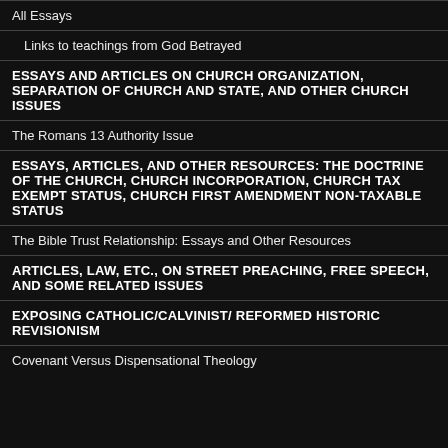Links...
All Essays
Links to teachings from God Betrayed
ESSAYS AND ARTICLES ON CHURCH ORGANIZATION, SEPARATION OF CHURCH AND STATE, AND OTHER CHURCH ISSUES
The Romans 13 Authority Issue
ESSAYS, ARTICLES, AND OTHER RESOURCES: THE DOCTRINE OF THE CHURCH, CHURCH INCORPORATION, CHURCH TAX EXEMPT STATUS, CHURCH FIRST AMENDMENT NON-TAXABLE STATUS
The Bible Trust Relationship: Essays and Other Resources
ARTICLES, LAW, ETC., ON STREET PREACHING, FREE SPEECH, AND SOME RELATED ISSUES
EXPOSING CATHOLIC/CALVINIST/ REFORMED HISTORIC REVISIONISM
Covenant Versus Dispensational Theology